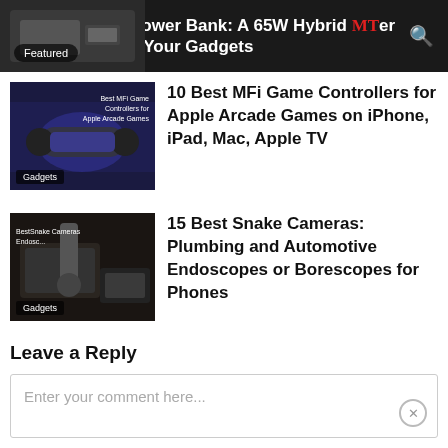Anker 765 Power Bank: A 65W Hybrid Power Bank for All Your Gadgets
[Figure (screenshot): Thumbnail image of power bank product with Featured badge, partial view at top]
10 Best MFi Game Controllers for Apple Arcade Games on iPhone, iPad, Mac, Apple TV
[Figure (photo): Thumbnail of hands holding game controller with text overlay 'Best MFi Game Controllers for Apple Arcade Games' and Gadgets badge]
15 Best Snake Cameras: Plumbing and Automotive Endoscopes or Borescopes for Phones
[Figure (photo): Thumbnail of snake camera being used in dark automotive setting with text overlay and Gadgets badge]
Leave a Reply
Enter your comment here...